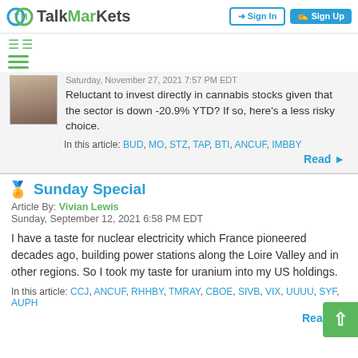TalkMarkets — Sign In | Sign Up
Saturday, November 27, 2021 7:57 PM EDT
Reluctant to invest directly in cannabis stocks given that the sector is down -20.9% YTD? If so, here's a less risky choice.
In this article: BUD, MO, STZ, TAP, BTI, ANCUF, IMBBY
Read
Sunday Special
Article By: Vivian Lewis
Sunday, September 12, 2021 6:58 PM EDT
I have a taste for nuclear electricity which France pioneered decades ago, building power stations along the Loire Valley and in other regions. So I took my taste for uranium into my US holdings.
In this article: CCJ, ANCUF, RHHBY, TMRAY, CBOE, SIVB, VIX, UUUU, SYF, AUPH
Read